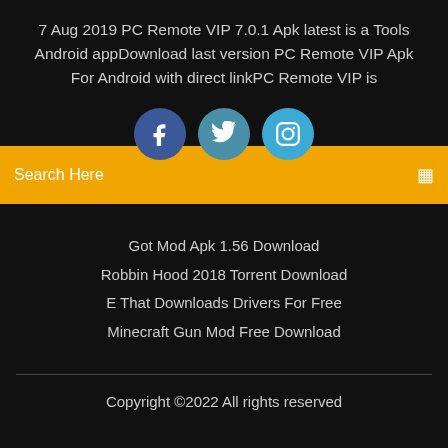7 Aug 2019 PC Remote VIP 7.0.1 Apk latest is a Tools Android appDownload last version PC Remote VIP Apk For Android with direct linkPC Remote VIP is
[Figure (illustration): Three circular social media icons: Facebook (dark blue), Twitter (teal), Instagram (light blue)]
Search Here
Got Mod Apk 1.56 Download
Robbin Hood 2018 Torrent Download
E That Downloads Drivers For Free
Minecraft Gun Mod Free Download
Copyright ©2022 All rights reserved